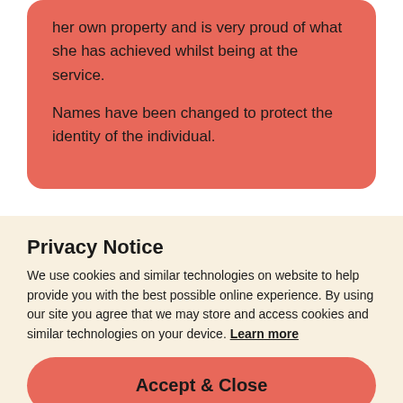her own property and is very proud of what she has achieved whilst being at the service.

Names have been changed to protect the identity of the individual.
Privacy Notice
We use cookies and similar technologies on website to help provide you with the best possible online experience. By using our site you agree that we may store and access cookies and similar technologies on your device. Learn more
Accept & Close